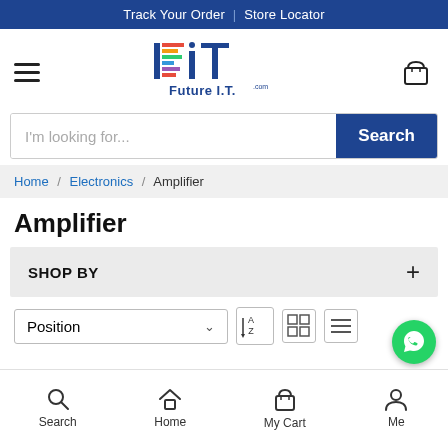Track Your Order  |  Store Locator
[Figure (logo): Future I.T. logo with colorful F.I.T. letters and brand name]
I'm looking for...
Search
Home / Electronics / Amplifier
Amplifier
SHOP BY
Position
Search  Home  My Cart  Me